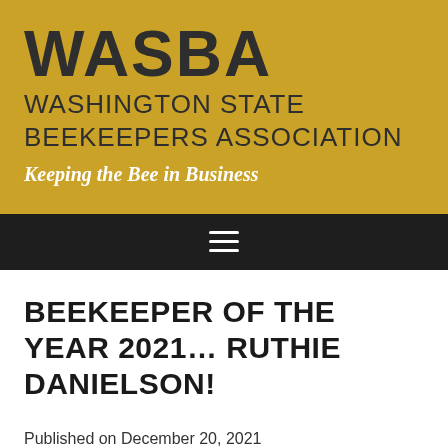WASBA WASHINGTON STATE BEEKEEPERS ASSOCIATION
Keeping the Bee in Business
[Figure (other): Navigation bar with hamburger menu icon (three horizontal lines) on dark background]
BEEKEEPER OF THE YEAR 2021… RUTHIE DANIELSON!
Published on December 20, 2021
in Bee News